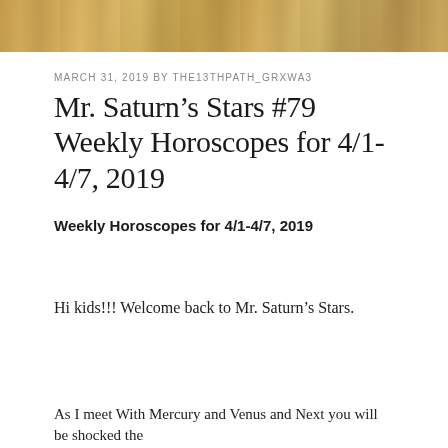[Figure (photo): Decorative banner photo strip at the top of the page with warm golden/amber tones]
MARCH 31, 2019 BY THE13THPATH_GRXWA3
Mr. Saturn’s Stars #79 Weekly Horoscopes for 4/1-4/7, 2019
Weekly Horoscopes for 4/1-4/7, 2019
Hi kids!!! Welcome back to Mr. Saturn’s Stars.
As I meet With Mercury and Venus and Next you will be shocked the